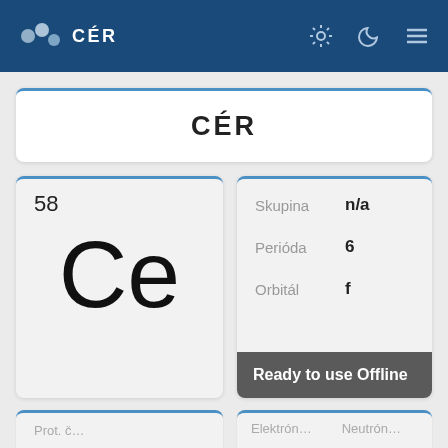CÉR
CÉR
58
Ce
| Property | Value |
| --- | --- |
| Skupina | n/a |
| Perióda | 6 |
| Orbitál | f |
Ready to use Offline